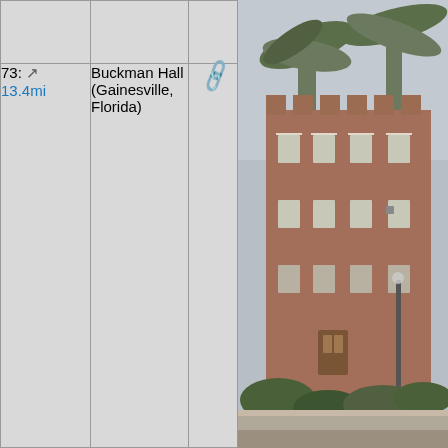| # | Name | Link | Categories | Photo |
| --- | --- | --- | --- | --- |
| 73: 13.4mi | Buckman Hall (Gainesville, Florida) | 🔗 | National Register of Historic Places in Alachua County, Florida, Buildings at the University of Florida, William Augustus Edwards buildings, North Central Florida Registered Historic Place stubs, Hidden categories:, Articles sourced only to NRIS from November 2013, All articles sourced only to NRIS, Coordinates | [photo] |
[Figure (photo): Photograph of Buckman Hall, a red brick building with crenellated roofline at the University of Florida, surrounded by palm trees and other vegetation, overcast sky.]